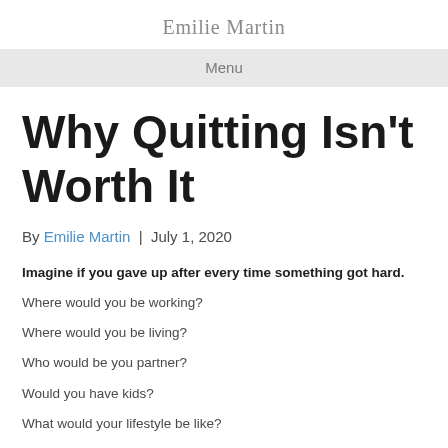Emilie Martin
Menu
Why Quitting Isn't Worth It
By Emilie Martin | July 1, 2020
Imagine if you gave up after every time something got hard.
Where would you be working?
Where would you be living?
Who would be you partner?
Would you have kids?
What would your lifestyle be like?